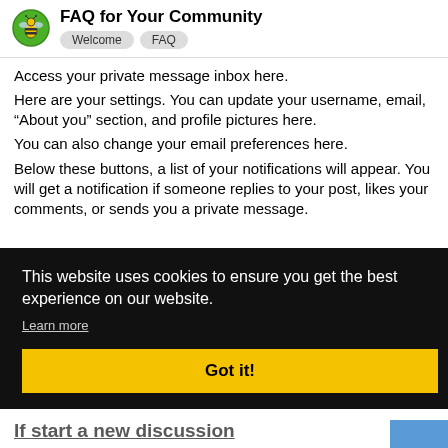FAQ for Your Community — Welcome | FAQ
Access your private message inbox here. Here are your settings. You can update your username, email, “About you” section, and profile pictures here. You can also change your email preferences here. Below these buttons, a list of your notifications will appear. You will get a notification if someone replies to your post, likes your comments, or sends you a private message.
This website uses cookies to ensure you get the best experience on our website. Learn more Got it!